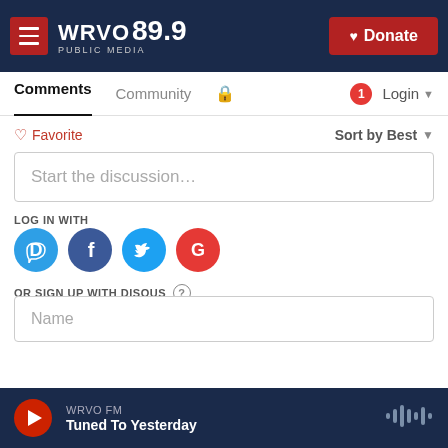WRVO PUBLIC MEDIA 89.9 | Donate
Comments | Community | Login
Favorite | Sort by Best
Start the discussion...
LOG IN WITH
[Figure (logo): Social login icons: Disqus (D), Facebook (f), Twitter bird, Google (G)]
OR SIGN UP WITH DISQUS ?
Name
WRVO FM | Tuned To Yesterday